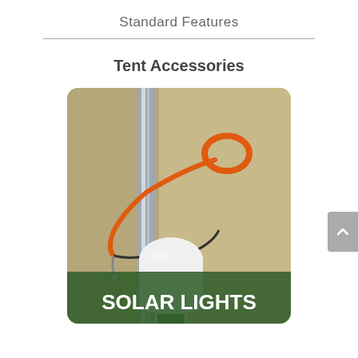Standard Features
Tent Accessories
[Figure (photo): A solar light bulb hanging from an orange carabiner/hook attached to a metal pole, with a green semi-transparent overlay at the bottom reading SOLAR LIGHTS in bold white text.]